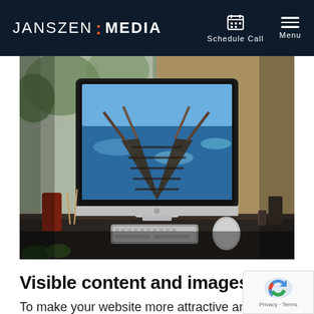JANSZEN : MEDIA  Schedule Call  Menu
[Figure (photo): Apple iMac desktop computer on a desk near a window, showing a scenic ocean walkway wallpaper, with keyboard and mouse, plants and decorative items nearby]
Visible content and images
To make your website more attractive and appealing, the web designers will smartly use